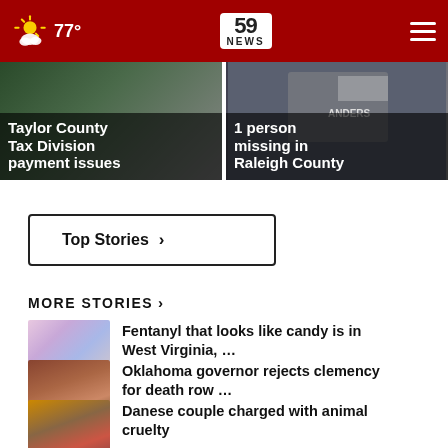77° | 59 NEWS
[Figure (screenshot): News banner left: Taylor County Tax Division payment issues]
[Figure (screenshot): News banner right: Person missing in Raleigh County]
Top Stories ›
MORE STORIES ›
Fentanyl that looks like candy is in West Virginia, …
Oklahoma governor rejects clemency for death row …
Danese couple charged with animal cruelty